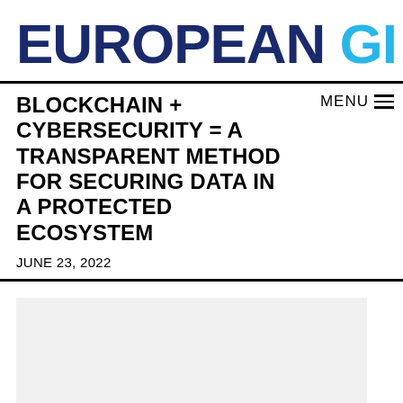EUROPEAN GI
BLOCKCHAIN + CYBERSECURITY = A TRANSPARENT METHOD FOR SECURING DATA IN A PROTECTED ECOSYSTEM
JUNE 23, 2022
[Figure (photo): Light gray placeholder image area below the article title and date]